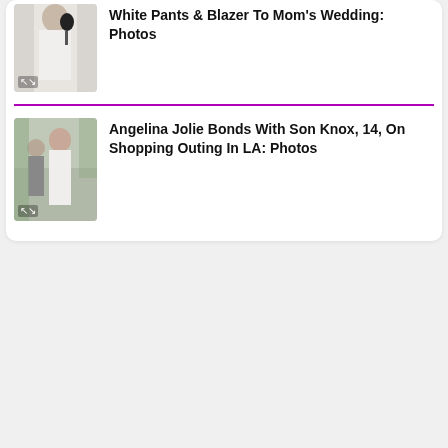[Figure (photo): Person in white outfit holding a microphone, cropped photo thumbnail]
White Pants & Blazer To Mom's Wedding: Photos
[Figure (photo): Angelina Jolie with son Knox on a shopping outing in LA, outdoor photo thumbnail]
Angelina Jolie Bonds With Son Knox, 14, On Shopping Outing In LA: Photos